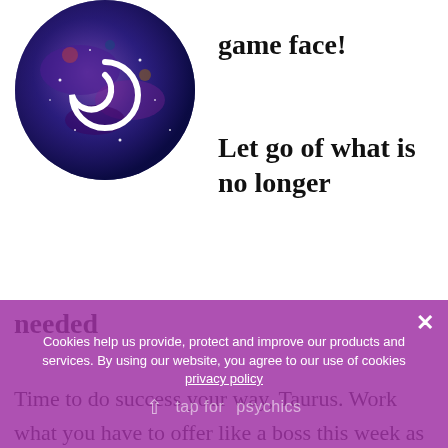[Figure (illustration): Circular galaxy/moon illustration with a white crescent symbol, blue and purple cosmic imagery]
game face!
Let go of what is no longer needed
Time to do success your way, Taurus. Work what you have to offer like a boss this week as the Sun and new Moon light up your 10th of career, rewards and honours. Time to bring it and to put your best game face on. This house of your chart is a public house. You are on show in some
Cookies help us provide, protect and improve our products and services. By using our website, you agree to our use of cookies privacy policy
tap for psychics